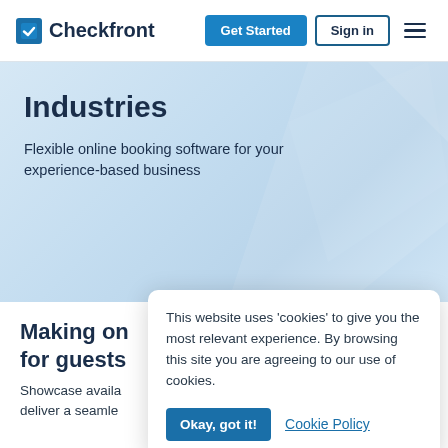Checkfront | Get Started | Sign in
Industries
Flexible online booking software for your experience-based business
Making on... for guests...
Showcase availa... deliver a seamle...
This website uses 'cookies' to give you the most relevant experience. By browsing this site you are agreeing to our use of cookies.
Okay, got it! | Cookie Policy